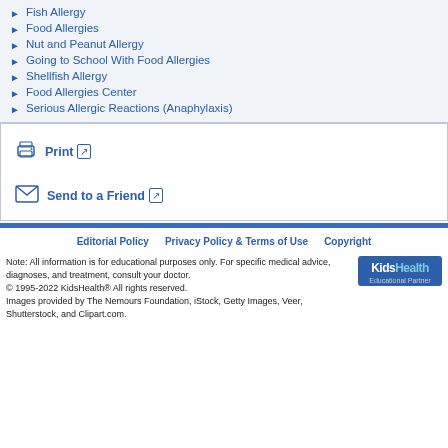Fish Allergy
Food Allergies
Nut and Peanut Allergy
Going to School With Food Allergies
Shellfish Allergy
Food Allergies Center
Serious Allergic Reactions (Anaphylaxis)
Print
Send to a Friend
Editorial Policy   Privacy Policy & Terms of Use   Copyright
Note: All information is for educational purposes only. For specific medical advice, diagnoses, and treatment, consult your doctor.
© 1995-2022 KidsHealth® All rights reserved.
Images provided by The Nemours Foundation, iStock, Getty Images, Veer, Shutterstock, and Clipart.com.